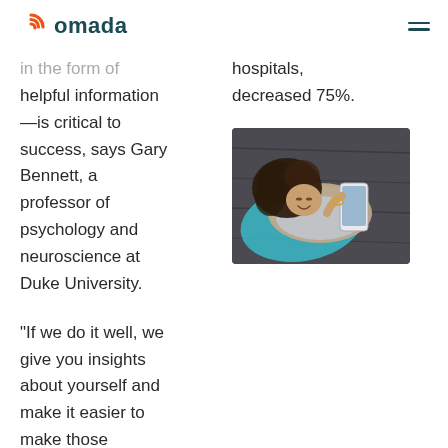omada
in the form of helpful information —is critical to success, says Gary Bennett, a professor of psychology and neuroscience at Duke University.
hospitals, decreased 75%.
[Figure (photo): Woman lying on a yoga mat looking at her phone, smiling, viewed from above]
“If we do it well, we give you insights about yourself and make it easier to make those